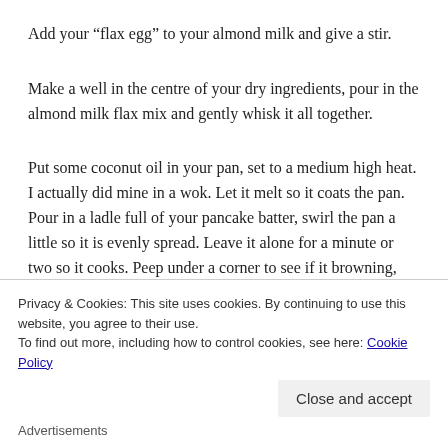Add your “flax egg” to your almond milk and give a stir.
Make a well in the centre of your dry ingredients, pour in the almond milk flax mix and gently whisk it all together.
Put some coconut oil in your pan, set to a medium high heat. I actually did mine in a wok. Let it melt so it coats the pan. Pour in a ladle full of your pancake batter, swirl the pan a little so it is evenly spread. Leave it alone for a minute or two so it cooks. Peep under a corner to see if it browning, only then attempt
Privacy & Cookies: This site uses cookies. By continuing to use this website, you agree to their use.
To find out more, including how to control cookies, see here: Cookie Policy
Close and accept
Advertisements